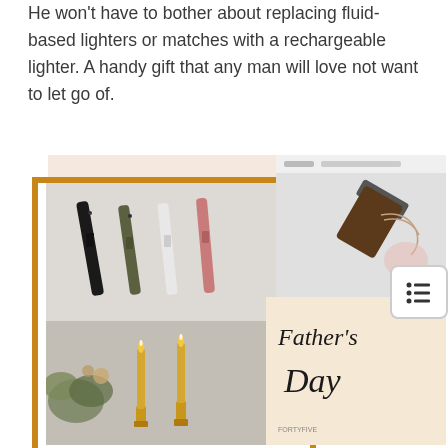He won't have to bother about replacing fluid-based lighters or matches with a rechargeable lighter. A handy gift that any man will love not want to let go of.
[Figure (photo): Collage of rechargeable lighter product images: four slim lighters in black, olive, white and pink/rose laid flat on a light surface (top left); candles on holders with greenery (bottom left); a product website screenshot showing a lighter (top right); a Father's Day card with cursive text reading Father's Day on a cream background (bottom right). A gold/amber border frames the left section. A list/menu icon with rounded rectangle border appears at right.]